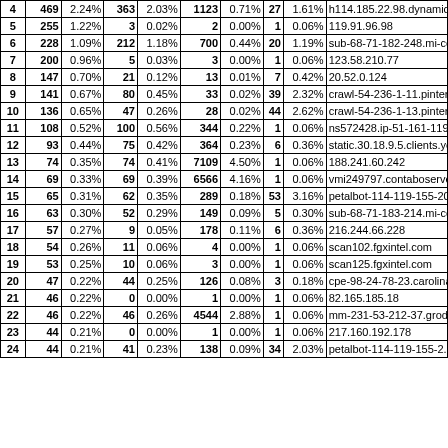| # | Visits | % | Pages | % | Hits | % | B/w | % | Host |
| --- | --- | --- | --- | --- | --- | --- | --- | --- | --- |
| 4 | 469 | 2.24% | 363 | 2.03% | 1123 | 0.71% | 27 | 1.61% | h114.185.22.98.dynamic.ip.win |
| 5 | 255 | 1.22% | 3 | 0.02% | 2 | 0.00% | 1 | 0.06% | 119.91.96.98 |
| 6 | 228 | 1.09% | 212 | 1.18% | 700 | 0.44% | 20 | 1.19% | sub-68-71-182-248.mi-connect |
| 7 | 200 | 0.96% | 5 | 0.03% | 3 | 0.00% | 1 | 0.06% | 123.58.210.77 |
| 8 | 147 | 0.70% | 21 | 0.12% | 13 | 0.01% | 7 | 0.42% | 20.52.0.124 |
| 9 | 141 | 0.67% | 80 | 0.45% | 33 | 0.02% | 39 | 2.32% | crawl-54-236-1-11.pinterest.co |
| 10 | 136 | 0.65% | 47 | 0.26% | 28 | 0.02% | 44 | 2.62% | crawl-54-236-1-13.pinterest.co |
| 11 | 108 | 0.52% | 100 | 0.56% | 344 | 0.22% | 1 | 0.06% | ns572428.ip-51-161-119.net |
| 12 | 93 | 0.44% | 75 | 0.42% | 364 | 0.23% | 6 | 0.36% | static.30.18.9.5.clients.your-se |
| 13 | 74 | 0.35% | 74 | 0.41% | 7109 | 4.50% | 1 | 0.06% | 188.241.60.242 |
| 14 | 69 | 0.33% | 69 | 0.39% | 6566 | 4.16% | 1 | 0.06% | vmi249797.contaboserver.net |
| 15 | 65 | 0.31% | 62 | 0.35% | 289 | 0.18% | 53 | 3.16% | petalbot-114-119-155-205.peta |
| 16 | 63 | 0.30% | 52 | 0.29% | 149 | 0.09% | 5 | 0.30% | sub-68-71-183-214.mi-connect |
| 17 | 57 | 0.27% | 9 | 0.05% | 178 | 0.11% | 6 | 0.36% | 216.244.66.228 |
| 18 | 54 | 0.26% | 11 | 0.06% | 4 | 0.00% | 1 | 0.06% | scan102.fgxintel.com |
| 19 | 53 | 0.25% | 10 | 0.06% | 3 | 0.00% | 1 | 0.06% | scan125.fgxintel.com |
| 20 | 47 | 0.22% | 44 | 0.25% | 126 | 0.08% | 3 | 0.18% | cpe-98-24-78-23.carolina.res.rr |
| 21 | 46 | 0.22% | 0 | 0.00% | 1 | 0.00% | 1 | 0.06% | 82.165.185.18 |
| 22 | 46 | 0.22% | 46 | 0.26% | 4544 | 2.88% | 1 | 0.06% | mm-231-53-212-37.grodno.dyn |
| 23 | 44 | 0.21% | 0 | 0.00% | 1 | 0.00% | 1 | 0.06% | 217.160.192.178 |
| 24 | 44 | 0.21% | 41 | 0.23% | 138 | 0.09% | 34 | 2.03% | petalbot-114-119-155-2.petalse |